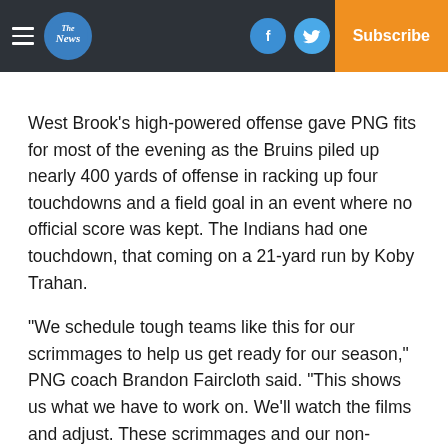The News | Log In | Subscribe
West Brook's high-powered offense gave PNG fits for most of the evening as the Bruins piled up nearly 400 yards of offense in racking up four touchdowns and a field goal in an event where no official score was kept. The Indians had one touchdown, that coming on a 21-yard run by Koby Trahan.
“We schedule tough teams like this for our scrimmages to help us get ready for our season,” PNG coach Brandon Faircloth said. “This shows us what we have to work on. We’ll watch the films and adjust. These scrimmages and our non-district